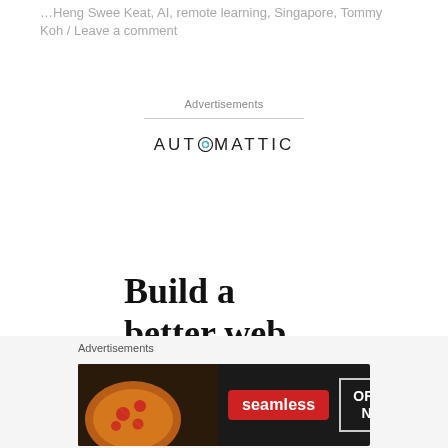… Heng Swee Keat, AI, remote learning, Singapore, Tommy Koh / Leave a comment
Advertisements
[Figure (logo): Automattic logo with circular O icon and horizontal rule above]
Build a better web and a
[Figure (logo): Close (X) circle button]
Advertisements
[Figure (photo): Seamless food delivery advertisement banner with pizza image, red Seamless badge, and ORDER NOW button]